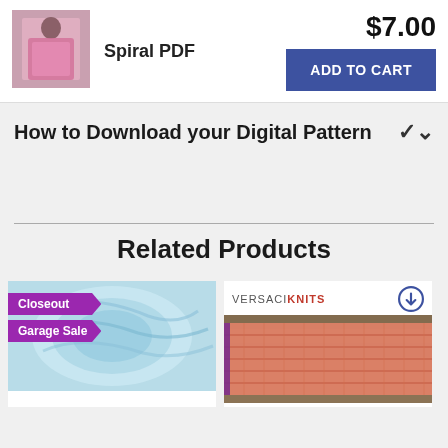[Figure (photo): Small product photo of person holding a pink knitted item]
Spiral PDF
$7.00
ADD TO CART
How to Download your Digital Pattern
Related Products
[Figure (photo): Light blue yarn skein with Closeout and Garage Sale badges]
[Figure (photo): VERSACIKNITS branded product image showing a pink and coral knitted pattern on wood surface]